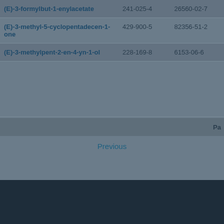| Name | EC Number | CAS Number |
| --- | --- | --- |
| (E)-3-formylbut-1-enylacetate | 241-025-4 | 26560-02-7 |
| (E)-3-methyl-5-cyclopentadecen-1-one | 429-900-5 | 82356-51-2 |
| (E)-3-methylpent-2-en-4-yn-1-ol | 228-169-8 | 6153-06-6 |
Pa...
Previous